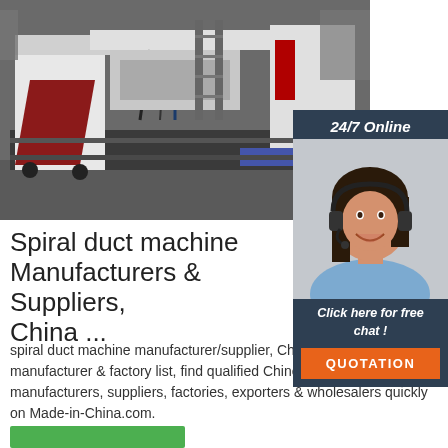[Figure (photo): Industrial spiral duct machine in a factory setting, white and red colored CNC-style machine on a conveyor/table.]
[Figure (photo): Chat widget showing a woman wearing a headset smiling, with '24/7 Online' header, 'Click here for free chat!' text, and an orange QUOTATION button.]
Spiral duct machine Manufacturers & Suppliers, China ...
spiral duct machine manufacturer/supplier, China spiral duct machine manufacturer & factory list, find qualified Chinese spiral duct machine manufacturers, suppliers, factories, exporters & wholesalers quickly on Made-in-China.com.